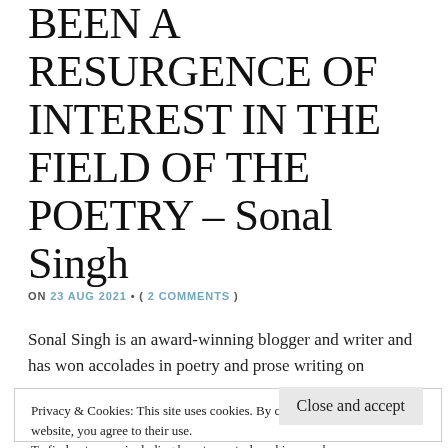BEEN A RESURGENCE OF INTEREST IN THE FIELD OF THE POETRY – Sonal Singh
ON 23 AUG 2021 • ( 2 COMMENTS )
Sonal Singh is an award-winning blogger and writer and has won accolades in poetry and prose writing on
Privacy & Cookies: This site uses cookies. By continuing to use this website, you agree to their use.
To find out more, including how to control cookies, see here:
Cookie Policy
Close and accept